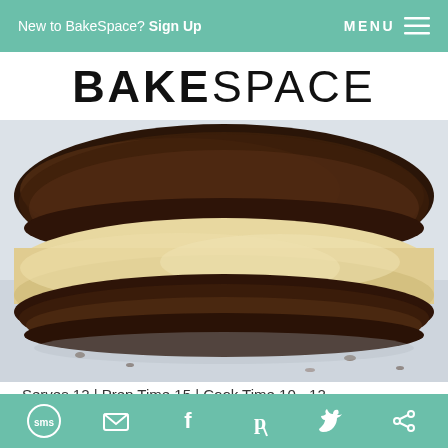New to BakeSpace? Sign Up   MENU
BAKESPACE
[Figure (photo): Close-up photo of a chocolate cookie ice cream sandwich with cream filling, on a light background.]
Serves 12 | Prep Time 15 | Cook Time 10 - 12
WHY I LOVE THIS RECIPE
SMS  Email  Facebook  Pinterest  Twitter  Other share options